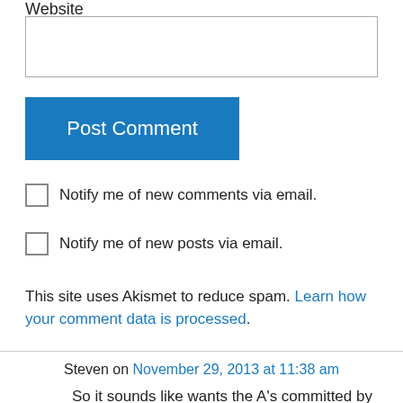Website
Post Comment
Notify me of new comments via email.
Notify me of new posts via email.
This site uses Akismet to reduce spam. Learn how your comment data is processed.
Steven on November 29, 2013 at 11:38 am
So it sounds like wants the A's committed by Summer 2014. My best guess is San Jose will get the team only if the terms are not agreeable